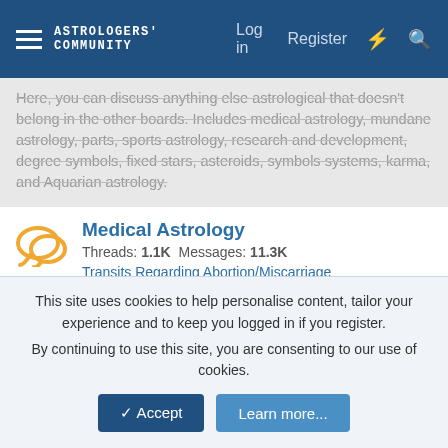ASTROLOGERS COMMUNITY  Log in  Register
Here, you can discuss anything else astrological that doesn't belong in the other boards. Includes medical astrology, mundane astrology, parts, sports astrology, research and development, degree symbols, fixed stars, asteroids, symbols systems, karma, and Aquarian astrology.
Medical Astrology
Threads: 1.1K  Messages: 11.3K
Transits Regarding Abortion/Miscarriage
Today at 4:11 AM · Goodvibesaround
Sports Astrology
Threads: 1.4K  Messages: 24.2K
100 odd trying with 10 games!  Friday at 5:10 PM · RaKaEl
Electional and Event Astrology
This site uses cookies to help personalise content, tailor your experience and to keep you logged in if you register.
By continuing to use this site, you are consenting to our use of cookies.